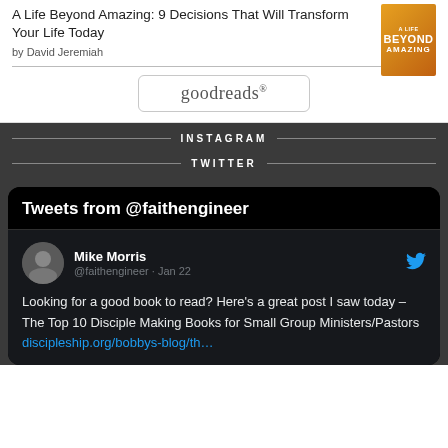A Life Beyond Amazing: 9 Decisions That Will Transform Your Life Today
by David Jeremiah
[Figure (illustration): Book cover for A Life Beyond Amazing with orange/yellow gradient background]
[Figure (logo): Goodreads logo button]
INSTAGRAM
TWITTER
Tweets from @faithengineer
Mike Morris
@faithengineer · Jan 22
Looking for a good book to read? Here's a great post I saw today – The Top 10 Disciple Making Books for Small Group Ministers/Pastors discipleship.org/bobbys-blog/th…